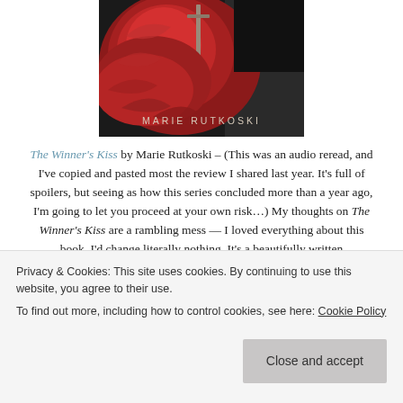[Figure (photo): Book cover of The Winner's Kiss by Marie Rutkoski — red feathers/fabric with a dagger, dark background, author name at bottom in light text]
The Winner's Kiss by Marie Rutkoski – (This was an audio reread, and I've copied and pasted most the review I shared last year. It's full of spoilers, but seeing as how this series concluded more than a year ago, I'm going to let you proceed at your own risk…) My thoughts on The Winner's Kiss are a rambling mess — I loved everything about this book, I'd change literally nothing. It's a beautifully written
Privacy & Cookies: This site uses cookies. By continuing to use this website, you agree to their use.
To find out more, including how to control cookies, see here: Cookie Policy
Close and accept
prison rescue plays out and after, when Arin reminds Kestrel